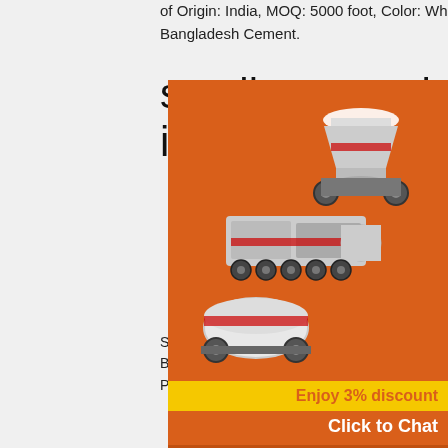of Origin: India, MOQ: 5000 foot, Color: White grey black, Material: Limestone ... Tags: Bangladesh Cement.
small stone grinding machine in bangladesh
2020-9-23 · small stone grinding machine in bangladesh. Crushing Machine Sale In Bangladesh Suppliers,Alibaba offers 981 Crushing Machine Bangladesh Suppliers and Crushing Machine Bangladesh Manufacturers Distributors Factories Companies There are 562 OEM 529 ODM 18 Patent Find high quality Crushing Machine Sale Bangladesh Suppliers on Alibaba...As a
Crusher grinding machine for
[Figure (illustration): Sidebar advertisement with orange background showing industrial crushing/grinding machine illustrations]
Enjoy 3% discount
Click to Chat
Enquiry
limingjlmofen@sina.com